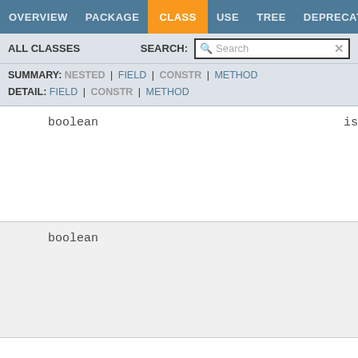OVERVIEW | PACKAGE | CLASS | USE | TREE | DEPRECATED
ALL CLASSES  SEARCH:
SUMMARY: NESTED | FIELD | CONSTR | METHOD
DETAIL: FIELD | CONSTR | METHOD
boolean    is
boolean    is